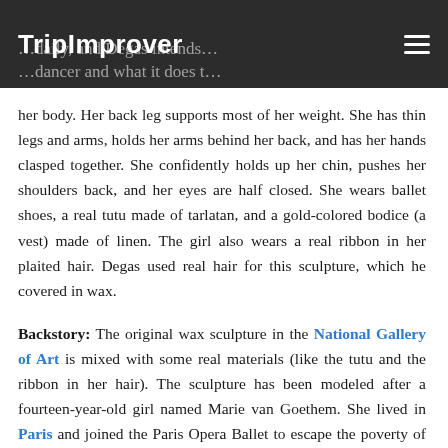TripImprover
her body. Her back leg supports most of her weight. She has thin legs and arms, holds her arms behind her back, and has her hands clasped together. She confidently holds up her chin, pushes her shoulders back, and her eyes are half closed. She wears ballet shoes, a real tutu made of tarlatan, and a gold-colored bodice (a vest) made of linen. The girl also wears a real ribbon in her plaited hair. Degas used real hair for this sculpture, which he covered in wax.
Backstory: The original wax sculpture in the National Gallery of Art is mixed with some real materials (like the tutu and the ribbon in her hair). The sculpture has been modeled after a fourteen-year-old girl named Marie van Goethem. She lived in Paris and joined the Paris Opera Ballet to escape the poverty of her family. Degas was a frequent visitor at the ballet school